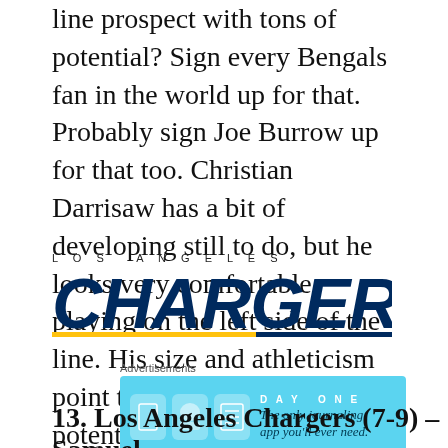line prospect with tons of potential? Sign every Bengals fan in the world up for that. Probably sign Joe Burrow up for that too. Christian Darrisaw has a bit of developing still to do, but he looks very comfortable playing on the left side of the line. His size and athleticism point to tons of untapped potential. He has room to improve in his footwork and technique, but those are coachable aspects of the game.
[Figure (logo): Los Angeles Chargers logo with 'LOS ANGELES' spaced lettering above bold italic 'CHARGERS' text in navy blue with gold/navy underline stripe]
Advertisements
[Figure (other): Day One journaling app advertisement with cyan background, app icons, and tagline 'The only journaling app you'll ever need.']
13. Los Angeles Chargers (7-9) – Samuel